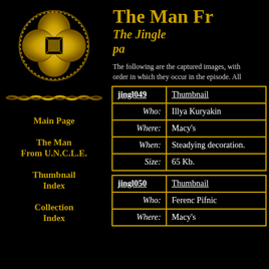[Figure (logo): Gold Celtic knot / UNCLE logo emblem on black background]
The Man Fr...
The Jingle... pa...
[Figure (illustration): Gold twisted rope horizontal divider]
The following are the captured images, with order in which they occur in the episode. All ...
Main Page
The Man From U.N.C.L.E.
Thumbnail Index
Collection Index
| jingl049 | Thumbnail |
| --- | --- |
| Who: | Illya Kuryakin |
| Where: | Macy’s |
| When: | Steadying decoration. |
| Size: | 65 Kb. |
| jingl050 | Thumbnail |
| --- | --- |
| Who: | Ferenc Pifnic |
| Where: | Macy’s |